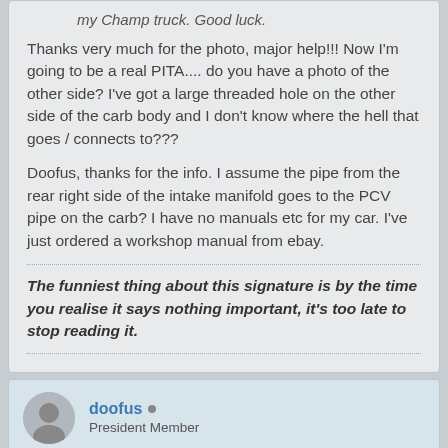my Champ truck. Good luck.
Thanks very much for the photo, major help!!! Now I'm going to be a real PITA.... do you have a photo of the other side? I've got a large threaded hole on the other side of the carb body and I don't know where the hell that goes / connects to???
Doofus, thanks for the info. I assume the pipe from the rear right side of the intake manifold goes to the PCV pipe on the carb? I have no manuals etc for my car. I've just ordered a workshop manual from ebay.
The funniest thing about this signature is by the time you realise it says nothing important, it's too late to stop reading it.
doofus • President Member